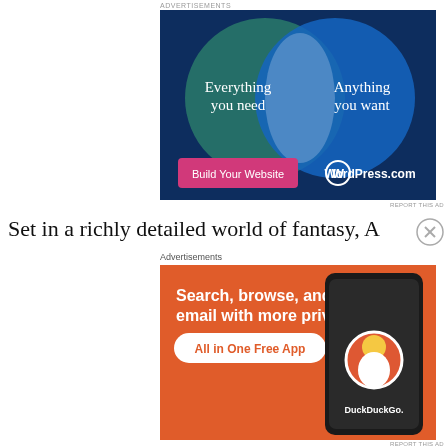[Figure (infographic): WordPress.com advertisement showing two overlapping circles (Venn diagram) on dark blue background. Left green circle labeled 'Everything you need', right blue circle labeled 'Anything you want'. Pink button reads 'Build Your Website'. WordPress.com logo at bottom right.]
Set in a richly detailed world of fantasy, A
Advertisements
[Figure (infographic): DuckDuckGo advertisement on orange background. Text: 'Search, browse, and email with more privacy. All in One Free App'. Shows smartphone with DuckDuckGo app and logo.]